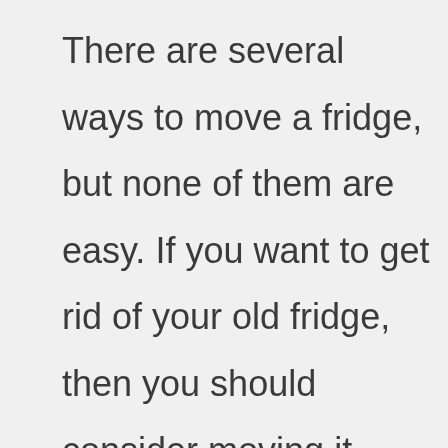There are several ways to move a fridge, but none of them are easy. If you want to get rid of your old fridge, then you should consider moving it yourself. This guide will explain you how to move a refrigerator without a dolly. Moving a fridge to a new home